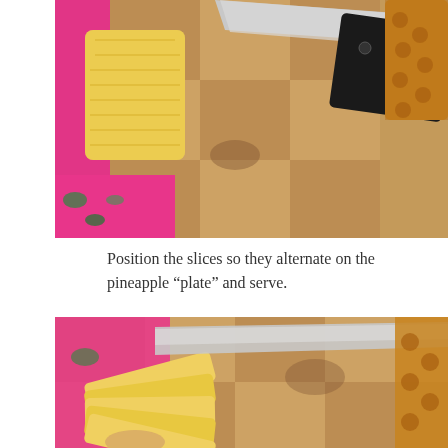[Figure (photo): Overhead photo of a pineapple being cut on a wooden butcher block cutting board with a large chef's knife. A peeled pineapple chunk is visible on the left, the knife blade in the center with a black handle, and a whole pineapple skin on the right. A bright pink floral tablecloth is visible at the edges.]
Position the slices so they alternate on the pineapple "plate" and serve.
[Figure (photo): Overhead photo of sliced pineapple wedges fanned out on a wooden cutting board with a knife blade visible, and partial pineapple skin on the right edge. Pink floral tablecloth visible in background.]